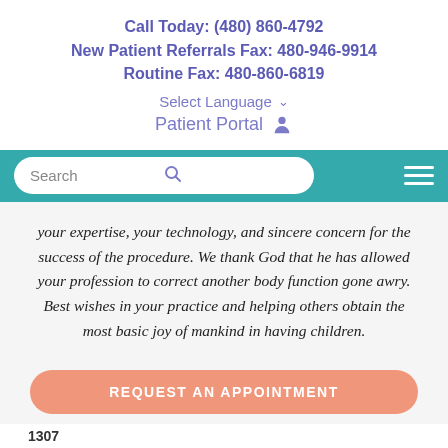Call Today: (480) 860-4792
New Patient Referrals Fax: 480-946-9914
Routine Fax: 480-860-6819
Select Language
Patient Portal
your expertise, your technology, and sincere concern for the success of the procedure. We thank God that he has allowed your profession to correct another body function gone awry. Best wishes in your practice and helping others obtain the most basic joy of mankind in having children.
REQUEST AN APPOINTMENT
1307